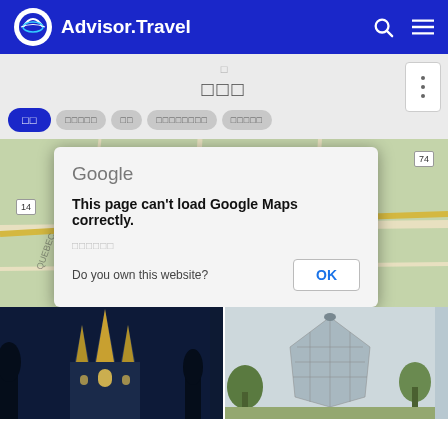Advisor.Travel
□□□
□□ □□□□□ □□ □□□□□□□□ □□□□□
[Figure (screenshot): Google Maps error dialog overlay on a map background. Dialog reads: 'This page can't load Google Maps correctly. Do you own this website? OK']
[Figure (photo): Two photos side by side: left shows a cathedral at night with illuminated spires against dark blue sky; right shows a modern glass building (National Gallery of Canada) against overcast sky]